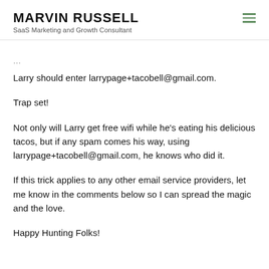MARVIN RUSSELL
SaaS Marketing and Growth Consultant
Larry should enter larrypage+tacobell@gmail.com.
Trap set!
Not only will Larry get free wifi while he’s eating his delicious tacos, but if any spam comes his way, using larrypage+tacobell@gmail.com, he knows who did it.
If this trick applies to any other email service providers, let me know in the comments below so I can spread the magic and the love.
Happy Hunting Folks!